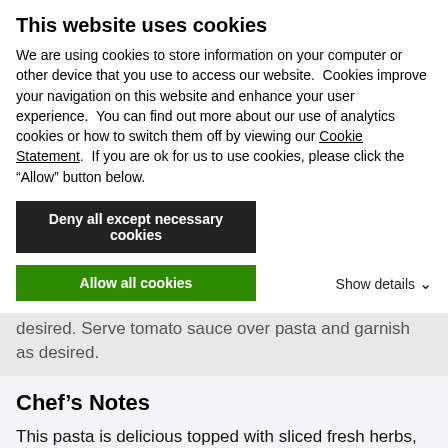This website uses cookies
We are using cookies to store information on your computer or other device that you use to access our website.  Cookies improve your navigation on this website and enhance your user experience.  You can find out more about our use of analytics cookies or how to switch them off by viewing our Cookie Statement.  If you are ok for us to use cookies, please click the "Allow" button below.
Deny all except necessary cookies
Allow all cookies
7. Serve tomato sauce over pasta and garnish as desired. Serve tomato sauce over pasta and garnish as desired.
Chef’s Notes
This pasta is delicious topped with sliced fresh herbs, like parsley or basil. Try some Grated Parmesan Cheese or crushed red pepper flakes if you prefer.